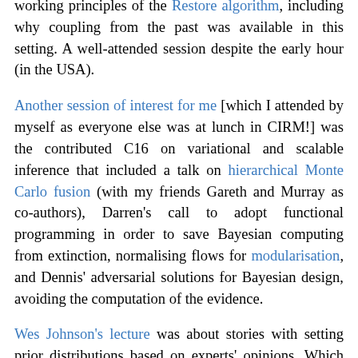…Pillou, from Newcastle, who exposed quite clearly the working principles of the Restore algorithm, including why coupling from the past was available in this setting. A well-attended session despite the early hour (in the USA).
Another session of interest for me [which I attended by myself as everyone else was at lunch in CIRM!] was the contributed C16 on variational and scalable inference that included a talk on hierarchical Monte Carlo fusion (with my friends Gareth and Murray as co-authors), Darren's call to adopt functional programming in order to save Bayesian computing from extinction, normalising flows for modularisation, and Dennis' adversarial solutions for Bayesian design, avoiding the computation of the evidence.
Wes Johnson's lecture was about stories with setting prior distributions based on experts' opinions. Which reminded…